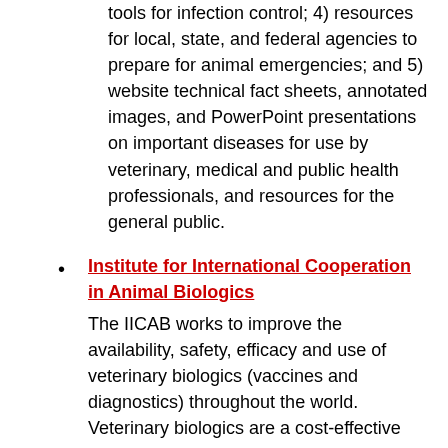tools for infection control; 4) resources for local, state, and federal agencies to prepare for animal emergencies; and 5) website technical fact sheets, annotated images, and PowerPoint presentations on important diseases for use by veterinary, medical and public health professionals, and resources for the general public.
Institute for International Cooperation in Animal Biologics
The IICAB works to improve the availability, safety, efficacy and use of veterinary biologics (vaccines and diagnostics) throughout the world. Veterinary biologics are a cost-effective method to prevent animal disease, to increase the efficiency of food production, and to increase the availability of high quality protein for humans. The IICAB works closely with the USDA Animal and Plant Health Inspection Service Center for Veterinary Biologics and National Veterinary Services